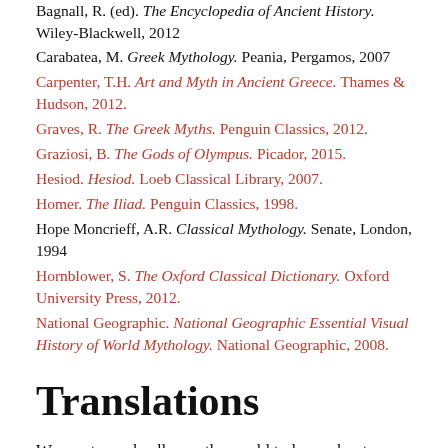Bagnall, R. (ed). The Encyclopedia of Ancient History. Wiley-Blackwell, 2012
Carabatea, M. Greek Mythology. Peania, Pergamos, 2007
Carpenter, T.H. Art and Myth in Ancient Greece. Thames & Hudson, 2012.
Graves, R. The Greek Myths. Penguin Classics, 2012.
Graziosi, B. The Gods of Olympus. Picador, 2015.
Hesiod. Hesiod. Loeb Classical Library, 2007.
Homer. The Iliad. Penguin Classics, 1998.
Hope Moncrieff, A.R. Classical Mythology. Senate, London, 1994
Hornblower, S. The Oxford Classical Dictionary. Oxford University Press, 2012.
National Geographic. National Geographic Essential Visual History of World Mythology. National Geographic, 2008.
Translations
We want people all over the world to learn about history. Help us and translate this definition into